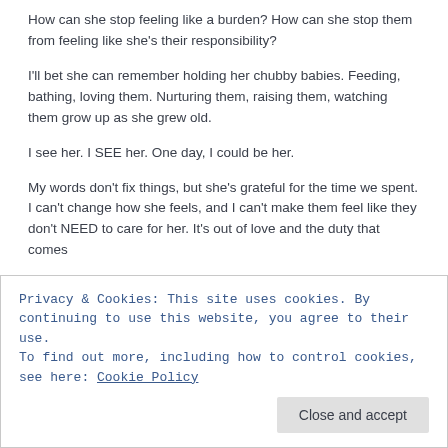How can she stop feeling like a burden? How can she stop them from feeling like she's their responsibility?
I'll bet she can remember holding her chubby babies. Feeding, bathing, loving them. Nurturing them, raising them, watching them grow up as she grew old.
I see her. I SEE her. One day, I could be her.
My words don't fix things, but she's grateful for the time we spent. I can't change how she feels, and I can't make them feel like they don't NEED to care for her. It's out of love and the duty that comes
Privacy & Cookies: This site uses cookies. By continuing to use this website, you agree to their use.
To find out more, including how to control cookies, see here: Cookie Policy